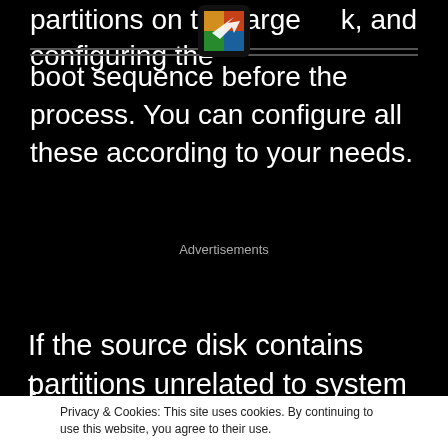partitions on the target disk, and configuring the boot sequence before the process. You can configure all these according to your needs.
Advertisements
If the source disk contains partitions unrelated to system boot, you can choose whether to migrate them to the new disk; for example, right-click on the partition and select “Migrate to t
Privacy & Cookies: This site uses cookies. By continuing to use this website, you agree to their use.